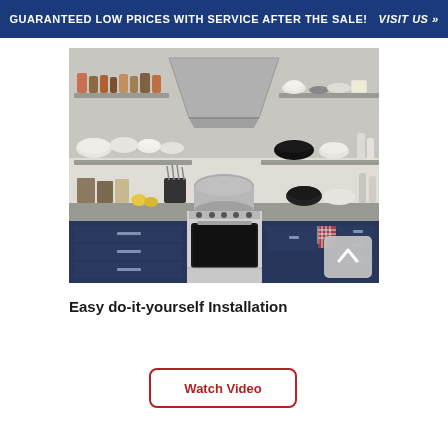GUARANTEED LOW PRICES WITH SERVICE AFTER THE SALE!   VISIT US >>
[Figure (photo): Kitchen scene showing a stainless steel slide-in range oven with a large pot on the cooktop, surrounded by dark navy blue cabinetry with bar handles, floating shelves with dishes, bowls, and jars, a stainless steel range hood above, and various kitchen accessories on the countertop.]
Easy do-it-yourself Installation
Watch Video